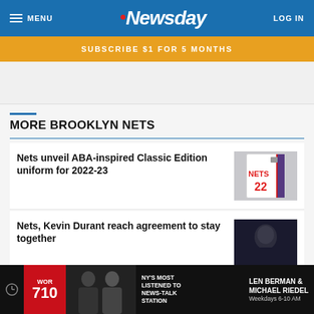MENU | Newsday | LOG IN
SUBSCRIBE $1 FOR 5 MONTHS
MORE BROOKLYN NETS
Nets unveil ABA-inspired Classic Edition uniform for 2022-23
Nets, Kevin Durant reach agreement to stay together
[Figure (screenshot): WOR 710 NY's Most Listened To News-Talk Station | Len Berman & Michael Riedel Weekdays 6-10 AM advertisement banner]